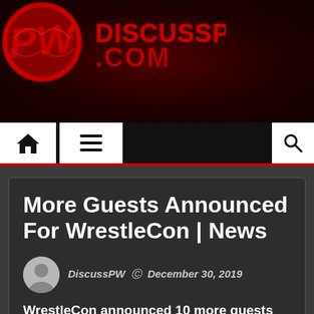[Figure (logo): DiscussPW.com logo with red circle PW emblem and red block text DISCUSSPW .COM on dark red background]
[Figure (screenshot): Navigation bar with home icon, hamburger menu icon on white backgrounds, and search icon on white background, on black bar with red bottom border]
More Guests Announced For WrestleCon | News
DiscussPW  December 30, 2019
WrestleCon announced 10 more guests